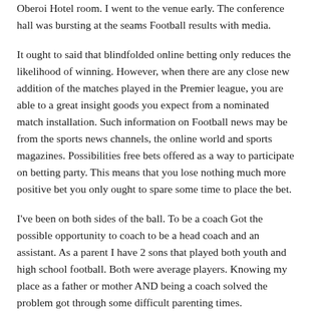Oberoi Hotel room. I went to the venue early. The conference hall was bursting at the seams Football results with media.
It ought to said that blindfolded online betting only reduces the likelihood of winning. However, when there are any close new addition of the matches played in the Premier league, you are able to a great insight goods you expect from a nominated match installation. Such information on Football news may be from the sports news channels, the online world and sports magazines. Possibilities free bets offered as a way to participate on betting party. This means that you lose nothing much more positive bet you only ought to spare some time to place the bet.
I've been on both sides of the ball. To be a coach Got the possible opportunity to coach to be a head coach and an assistant. As a parent I have 2 sons that played both youth and high school football. Both were average players. Knowing my place as a father or mother AND being a coach solved the problem got through some difficult parenting times.